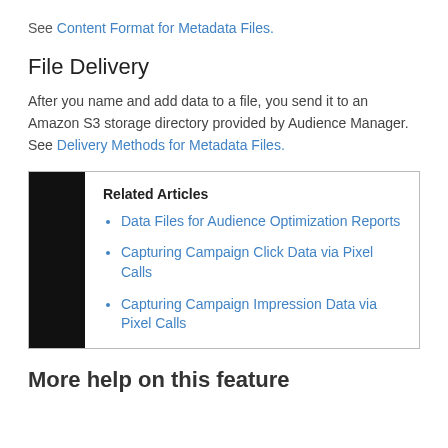See Content Format for Metadata Files.
File Delivery
After you name and add data to a file, you send it to an Amazon S3 storage directory provided by Audience Manager. See Delivery Methods for Metadata Files.
Related Articles
Data Files for Audience Optimization Reports
Capturing Campaign Click Data via Pixel Calls
Capturing Campaign Impression Data via Pixel Calls
More help on this feature